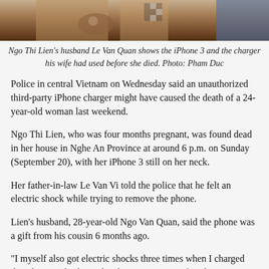[Figure (photo): Partial photo showing a person, possibly holding or wearing an iPhone, with colorful clothing visible. Top portion of a news article image.]
Ngo Thi Lien's husband Le Van Quan shows the iPhone 3 and the charger his wife had used before she died. Photo: Pham Duc
Police in central Vietnam on Wednesday said an unauthorized third-party iPhone charger might have caused the death of a 24-year-old woman last weekend.
Ngo Thi Lien, who was four months pregnant, was found dead in her house in Nghe An Province at around 6 p.m. on Sunday (September 20), with her iPhone 3 still on her neck.
Her father-in-law Le Van Vi told the police that he felt an electric shock while trying to remove the phone.
Lien's husband, 28-year-old Ngo Van Quan, said the phone was a gift from his cousin 6 months ago.
"I myself also got electric shocks three times when I charged this phone and I threw the charger away. But few days ago my wife used another charger to replace